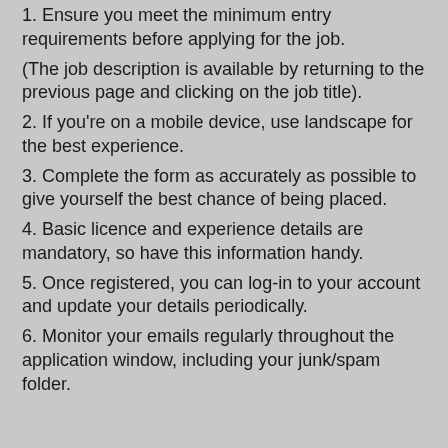1. Ensure you meet the minimum entry requirements before applying for the job.
(The job description is available by returning to the previous page and clicking on the job title).
2. If you're on a mobile device, use landscape for the best experience.
3. Complete the form as accurately as possible to give yourself the best chance of being placed.
4. Basic licence and experience details are mandatory, so have this information handy.
5. Once registered, you can log-in to your account and update your details periodically.
6. Monitor your emails regularly throughout the application window, including your junk/spam folder.